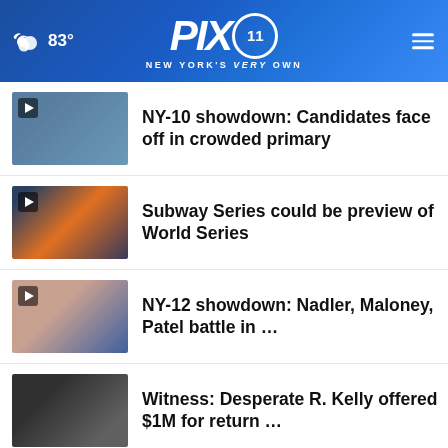83° PIX11 NEW YORK'S VERY OWN
NY-10 showdown: Candidates face off in crowded primary
Subway Series could be preview of World Series
NY-12 showdown: Nadler, Maloney, Patel battle in ...
Witness: Desperate R. Kelly offered $1M for return ...
Newark Public Schools requiring masks for students
[Figure (screenshot): Advertisement banner: Great Deal On Firestone Tires - VirginiaTire & Auto of Ashburn Fa.]
More Stories